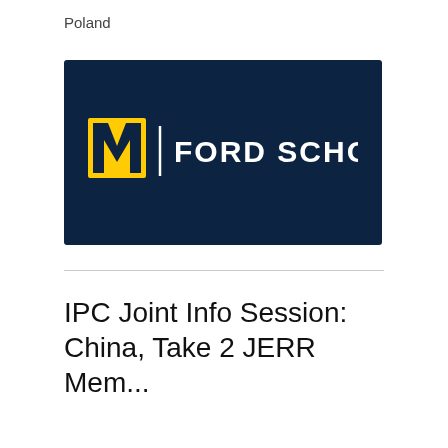Poland
[Figure (logo): University of Michigan Ford School of Public Policy logo. Dark navy blue background with a yellow block letter M, a vertical white divider line, and 'FORD SCHOOL' in white bold uppercase letters.]
IPC Joint Info Session: China, Take 2 JERR Mem...